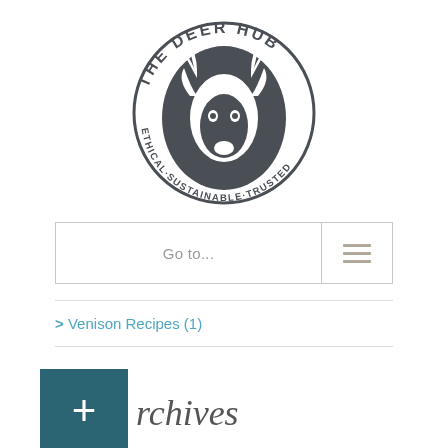[Figure (logo): The Deer Hub circular logo with a deer head illustration. Text around the circle reads 'THE DEER HUB' at the top and 'ETHICAL·SUSTAINABLE·TRUSTED' at the bottom. Dark grey color.]
Go to...
> Venison Recipes (1)
Archives